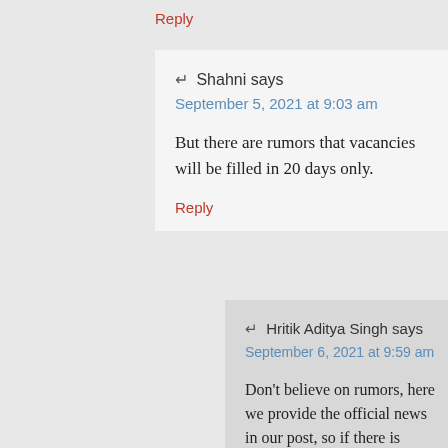Reply
↵ Shahni says
September 5, 2021 at 9:03 am
But there are rumors that vacancies will be filled in 20 days only.
Reply
↵ Hritik Aditya Singh says
September 6, 2021 at 9:59 am
Don't believe on rumors, here we provide the official news in our post, so if there is anything like that, we will